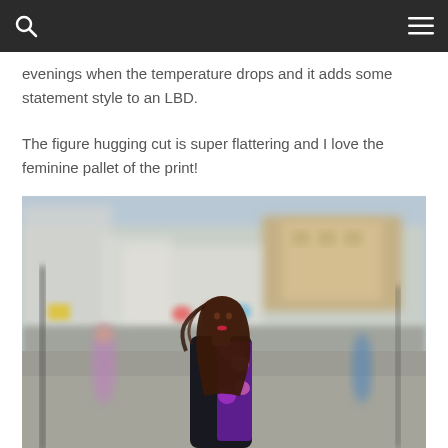evenings when the temperature drops and it adds some statement style to an LBD.
The figure hugging cut is super flattering and I love the feminine pallet of the print!
[Figure (photo): A woman with long dark hair wearing a dark jacket with floral print standing on a busy street, looking back over her shoulder toward the camera. Blurred urban street scene in the background with pedestrians and buildings.]